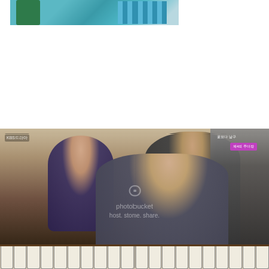[Figure (photo): Top portion of a page showing a cropped photo, appears to be an anime or illustrated scene with teal/blue-green colors and a figure wearing green, partially visible at the top of the page.]
[Figure (photo): Screenshot from a Korean TV drama/show (appears to be KBS). A young man in a gray suit is playing a piano while others stand around him smiling and watching. Korean text overlays visible including a purple banner. A Photobucket watermark is overlaid on the image reading 'host. stone. share.']